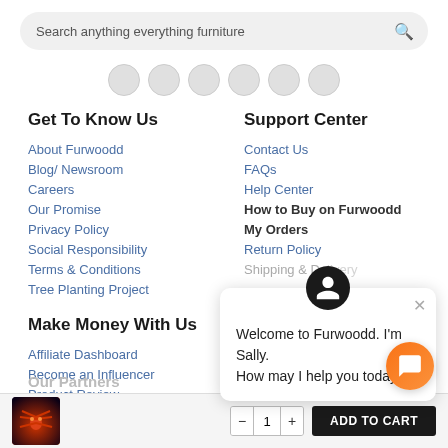Search anything everything furniture
Get To Know Us
About Furwoodd
Blog/ Newsroom
Careers
Our Promise
Privacy Policy
Social Responsibility
Terms & Conditions
Tree Planting Project
Support Center
Contact Us
FAQs
Help Center
How to Buy on Furwoodd
My Orders
Return Policy
Shipping & Delivery
Make Money With Us
Affiliate Dashboard
Become an Influencer
Product Review
Welcome to Furwoodd. I'm Sally. How may I help you today?
Call: +233 302 959 968
WhatsApp : +233 302 959
Our Partners